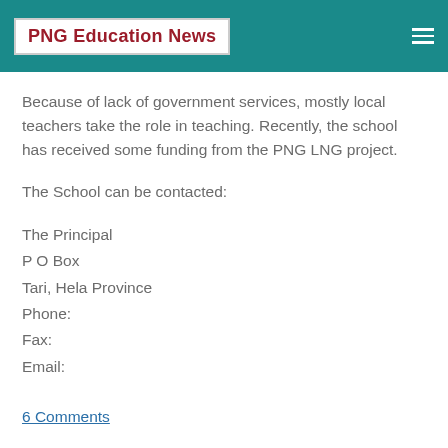PNG Education News
Because of lack of government services, mostly local teachers take the role in teaching. Recently, the school has received some funding from the PNG LNG project.
The School can be contacted:
The Principal
P O Box
Tari, Hela Province
Phone:
Fax:
Email:
6 Comments